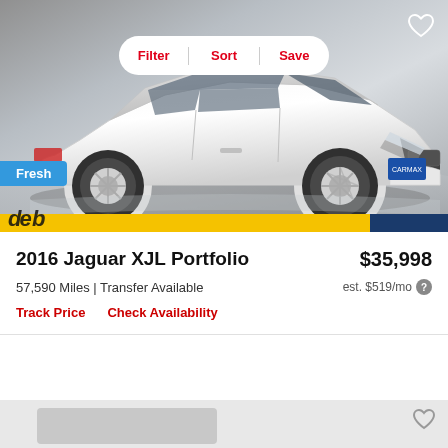[Figure (photo): White 2016 Jaguar XJL Portfolio sedan photographed in a showroom setting, front three-quarter view. A pill-shaped toolbar with Filter, Sort, Save buttons is overlaid at the top. A heart/save icon appears in the top-right corner. A 'Fresh' badge appears at the lower-left of the image. A yellow and dark-blue color strip runs along the bottom of the image area.]
2016 Jaguar XJL Portfolio
$35,998
57,590 Miles | Transfer Available
est. $519/mo
Track Price
Check Availability